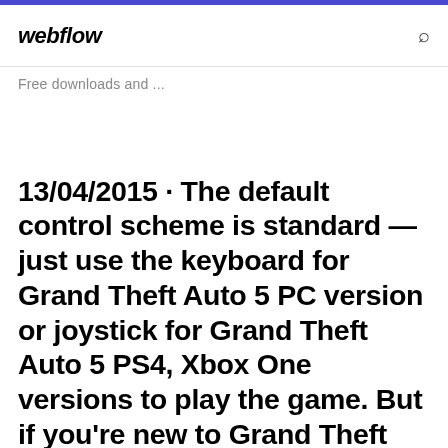webflow   Free downloads and ...
13/04/2015 · The default control scheme is standard — just use the keyboard for Grand Theft Auto 5 PC version or joystick for Grand Theft Auto 5 PS4, Xbox One versions to play the game. But if you're new to Grand Theft Auto V long-running series of video games, you can always check out how to navigate on